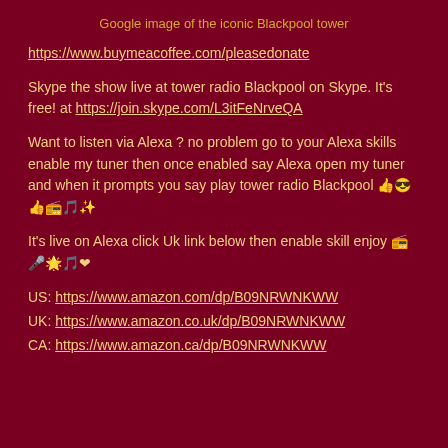Google image of the iconic Blackpool tower
https://www.buymeacoffee.com/pleasedonate
Skype the show live at tower radio Blackpool on Skype. It's free! at https://join.skype.com/L3itFeNrveQA
Want to listen via Alexa ? no problem go to your Alexa skills enable my tuner then once enabled say Alexa open my tuner and when it prompts you say play tower radio Blackpool 👍😎👍📻🎵✨
It's live on Alexa click Uk link below then enable skill enjoy 📻🎤🌟🎵❤
US: https://www.amazon.com/dp/B09NRWNKWW
UK: https://www.amazon.co.uk/dp/B09NRWNKWW
CA: https://www.amazon.ca/dp/B09NRWNKWW